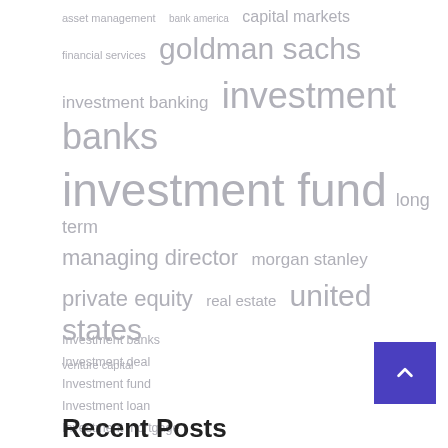[Figure (infographic): Tag cloud with finance-related terms in varying sizes: asset management, bank america, capital markets, financial services, goldman sachs, investment banking, investment banks, investment fund, long term, managing director, morgan stanley, private equity, real estate, united states, venture capital]
Investment banks
Investment deal
Investment fund
Investment loan
Investment mortgage
Recent Posts